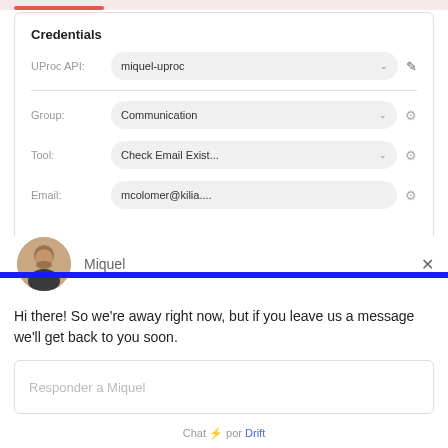Credentials
UProc API: miquel-uproc
Group: Communication
Tool: Check Email Exist...
Email: mcolomer@kilia....
Miquel
Hi there! So we're away right now, but if you leave us a message we'll get back to you soon.
Responder a Miquel
Chat ⚡ por Drift